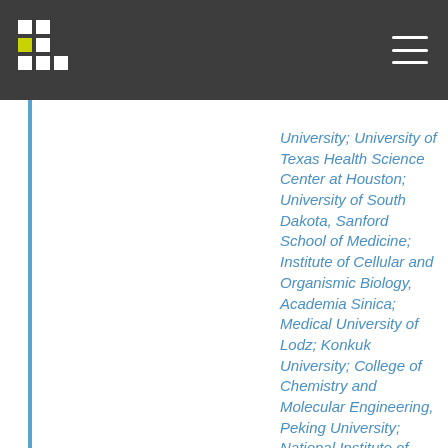University; University of Texas Health Science Center at Houston; University of South Dakota, Sanford School of Medicine; Institute of Cellular and Organismic Biology, Academia Sinica; Medical University of Lodz; Konkuk University; College of Chemistry and Molecular Engineering, Peking University; National Institute of Child Health and Human Development; Duke University; Soochow University;